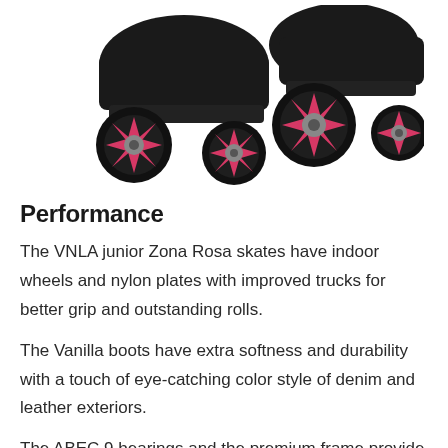[Figure (photo): Close-up photo of VNLA Junior Zona Rosa roller skates with black boots and pink/magenta wheels, showing the underside/wheel area of two skates from a low angle.]
Performance
The VNLA junior Zona Rosa skates have indoor wheels and nylon plates with improved trucks for better grip and outstanding rolls.
The Vanilla boots have extra softness and durability with a touch of eye-catching color style of denim and leather exteriors.
The ABEC 9 bearings and the premium frame provide improved versatility and stability without any